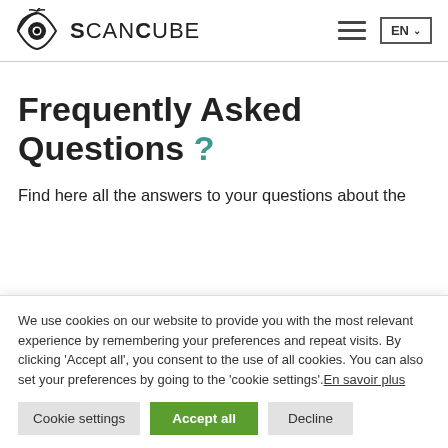ScanCube — EN
Frequently Asked Questions ?
Find here all the answers to your questions about the
We use cookies on our website to provide you with the most relevant experience by remembering your preferences and repeat visits. By clicking 'Accept all', you consent to the use of all cookies. You can also set your preferences by going to the 'cookie settings'.En savoir plus
Cookie settings | Accept all | Decline